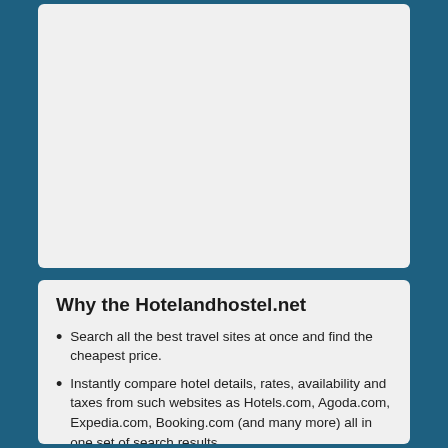[Figure (other): Grey placeholder/image area at the top of the page]
Why the Hotelandhostel.net
Search all the best travel sites at once and find the cheapest price.
Instantly compare hotel details, rates, availability and taxes from such websites as Hotels.com, Agoda.com, Expedia.com, Booking.com (and many more) all in one set of search results.